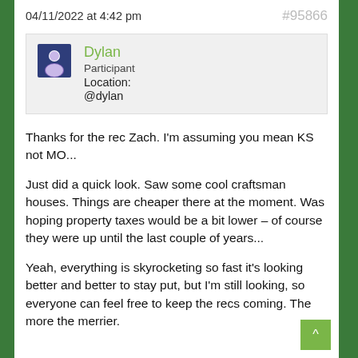04/11/2022 at 4:42 pm   #95866
[Figure (other): User avatar icon: dark blue/purple square with Facebook-style person icon in white/purple]
Dylan
Participant
Location:
@dylan
Thanks for the rec Zach. I'm assuming you mean KS not MO...
Just did a quick look. Saw some cool craftsman houses. Things are cheaper there at the moment. Was hoping property taxes would be a bit lower – of course they were up until the last couple of years...
Yeah, everything is skyrocketing so fast it's looking better and better to stay put, but I'm still looking, so everyone can feel free to keep the recs coming. The more the merrier.